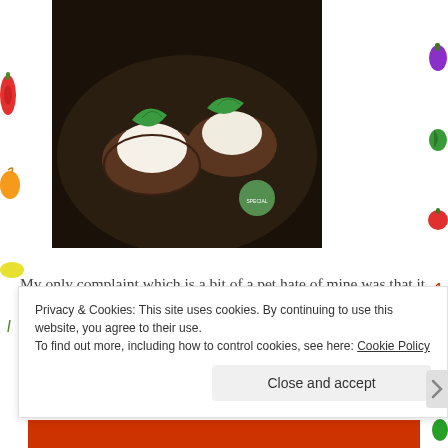[Figure (photo): Overhead photo of food items — bruschetta or small open-faced sandwiches topped with white cream/cheese and fresh mint leaves, served on a dark stone plate. A small green circular badge/label is visible in the lower right of the photo.]
My only complaint which is a bit of a pet hate of mine was that it was served in an unglazed stone bowl so when your spoon grated against the side it set your teeth on edge.
Privacy & Cookies: This site uses cookies. By continuing to use this website, you agree to their use.
To find out more, including how to control cookies, see here: Cookie Policy
Close and accept